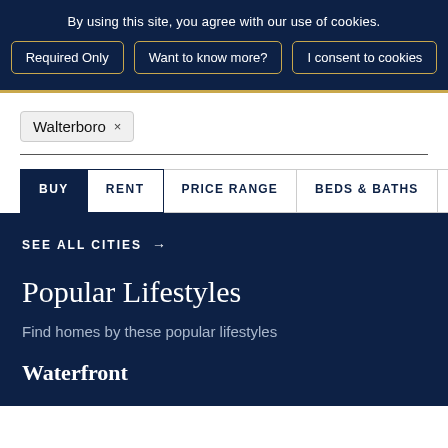By using this site, you agree with our use of cookies.
Required Only | Want to know more? | I consent to cookies
Walterboro ×
BUY  RENT  PRICE RANGE  BEDS & BATHS  >
SEE ALL CITIES →
Popular Lifestyles
Find homes by these popular lifestyles
Waterfront